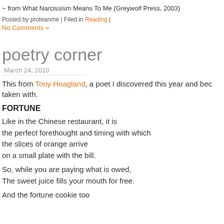~ from What Narcissism Means To Me (Greywolf Press, 2003)
Posted by proteanme | Filed in Reading |
No Comments »
poetry corner
March 24, 2010
This from Tony Hoagland, a poet I discovered this year and bec taken with.
FORTUNE
Like in the Chinese restaurant, it is
the perfect forethought and timing with which
the slices of orange arrive
on a small plate with the bill.
So, while you are paying what is owed,
The sweet juice fills your mouth for free.
And the fortune cookie too